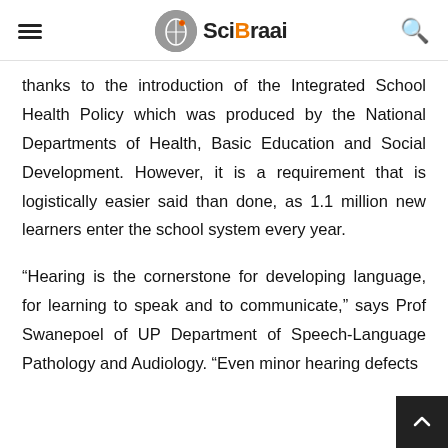SciBraai
thanks to the introduction of the Integrated School Health Policy which was produced by the National Departments of Health, Basic Education and Social Development. However, it is a requirement that is logistically easier said than done, as 1.1 million new learners enter the school system every year.
“Hearing is the cornerstone for developing language, for learning to speak and to communicate,” says Prof Swanepoel of UP Department of Speech-Language Pathology and Audiology. “Even minor hearing defects